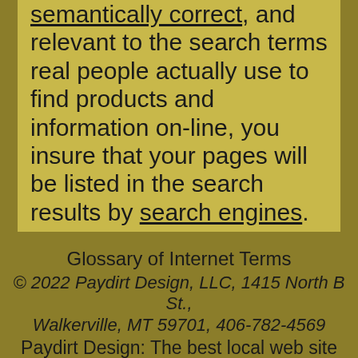semantically correct, and relevant to the search terms real people actually use to find products and information on-line, you insure that your pages will be listed in the search results by search engines.
Glossary of Internet Terms
© 2022 Paydirt Design, LLC, 1415 North B St., Walkerville, MT 59701, 406-782-4569
Paydirt Design: The best local web site design and development solution.
Follow Paydirt Design: [LinkedIn icon] [Facebook icon]